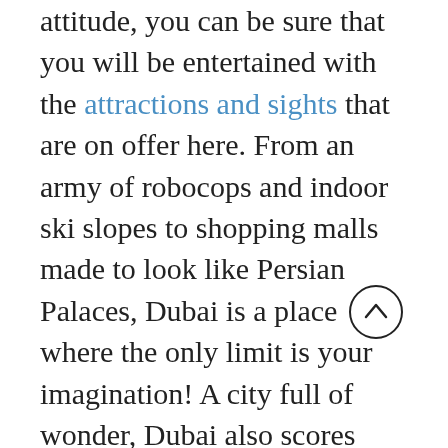attitude, you can be sure that you will be entertained with the attractions and sights that are on offer here. From an army of robocops and indoor ski slopes to shopping malls made to look like Persian Palaces, Dubai is a place where the only limit is your imagination! A city full of wonder, Dubai also scores major bonus points for practicality and convenience, providing all the necessary requirements you'd want from a city. Here, you can fill your boots from exploring the wide range of shops to eating your way through the vast